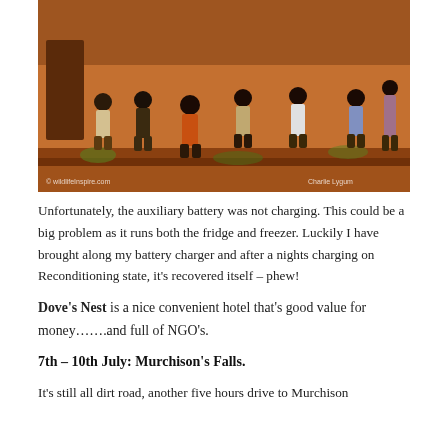[Figure (photo): Group of African children sitting and standing in front of a red/orange mud-brick wall, outdoors on a dirt area. Photo credit watermarks visible: 'wildiefInspire.com' bottom left and 'Charlie Lygum' bottom right.]
Unfortunately, the auxiliary battery was not charging. This could be a big problem as it runs both the fridge and freezer. Luckily I have brought along my battery charger and after a nights charging on Reconditioning state, it's recovered itself – phew!
Dove's Nest is a nice convenient hotel that's good value for money…….and full of NGO's.
7th – 10th July: Murchison's Falls.
It's still all dirt road, another five hours drive to Murchison